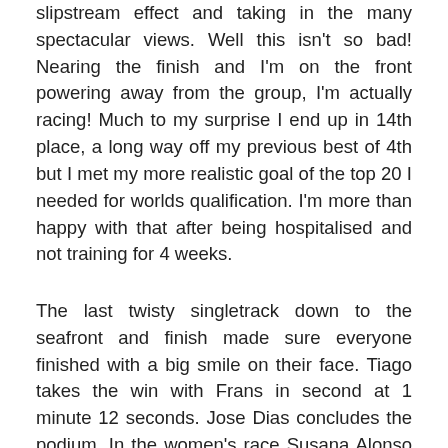slipstream effect and taking in the many spectacular views. Well this isn't so bad! Nearing the finish and I'm on the front powering away from the group, I'm actually racing! Much to my surprise I end up in 14th place, a long way off my previous best of 4th but I met my more realistic goal of the top 20 I needed for worlds qualification. I'm more than happy with that after being hospitalised and not training for 4 weeks.
The last twisty singletrack down to the seafront and finish made sure everyone finished with a big smile on their face. Tiago takes the win with Frans in second at 1 minute 12 seconds. Jose Dias concludes the podium. In the women's race Susana Alonso takes the